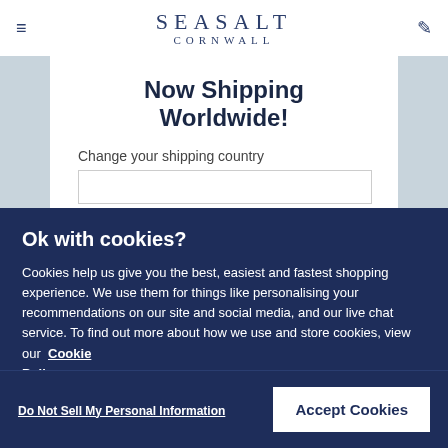SEASALT CORNWALL
Now Shipping Worldwide!
Change your shipping country
Ok with cookies?
Cookies help us give you the best, easiest and fastest shopping experience. We use them for things like personalising your recommendations on our site and social media, and our live chat service. To find out more about how we use and store cookies, view our Cookie Policy
Do Not Sell My Personal Information
Accept Cookies